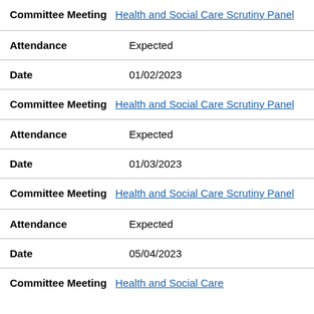| Committee Meeting | Health and Social Care Scrutiny Panel |
| Attendance | Expected |
| Date | 01/02/2023 |
| Committee Meeting | Health and Social Care Scrutiny Panel |
| Attendance | Expected |
| Date | 01/03/2023 |
| Committee Meeting | Health and Social Care Scrutiny Panel |
| Attendance | Expected |
| Date | 05/04/2023 |
| Committee Meeting | Health and Social Care |